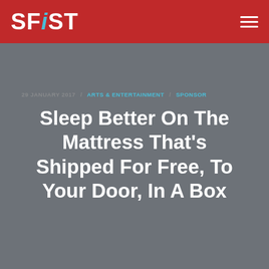SFiST
29 JANUARY 2017 / ARTS & ENTERTAINMENT / SPONSOR
Sleep Better On The Mattress That's Shipped For Free, To Your Door, In A Box